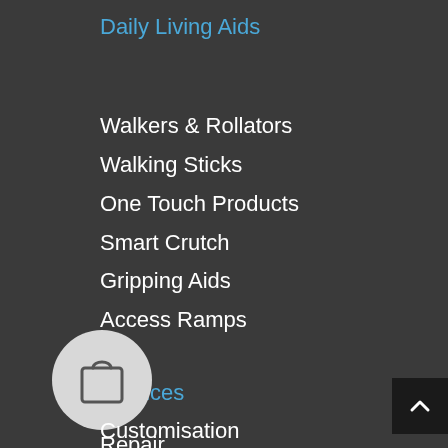Daily Living Aids
Walkers & Rollators
Walking Sticks
One Touch Products
Smart Crutch
Gripping Aids
Access Ramps
Services
[Figure (illustration): Shopping bag icon inside a light grey circle]
Repair
Customisation